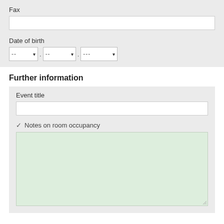Fax
Date of birth
Further information
Event title
Notes on room occupancy